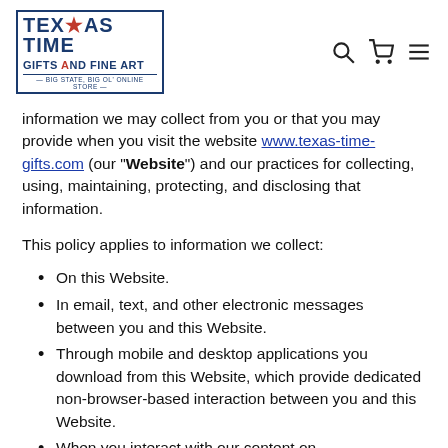Texas Time Gifts and Fine Art — Big State, Big Ol' Online Store [logo + nav icons]
information we may collect from you or that you may provide when you visit the website www.texas-time-gifts.com (our "Website") and our practices for collecting, using, maintaining, protecting, and disclosing that information.
This policy applies to information we collect:
On this Website.
In email, text, and other electronic messages between you and this Website.
Through mobile and desktop applications you download from this Website, which provide dedicated non-browser-based interaction between you and this Website.
When you interact with our content on...